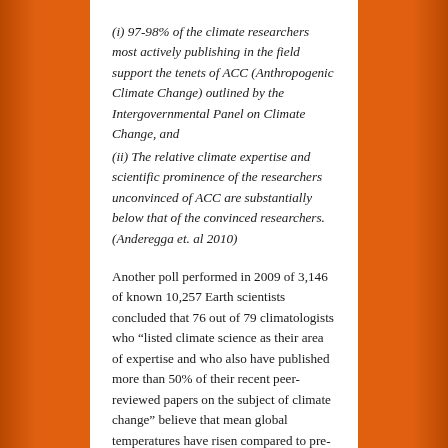(i) 97-98% of the climate researchers most actively publishing in the field support the tenets of ACC (Anthropogenic Climate Change) outlined by the Intergovernmental Panel on Climate Change, and
(ii) The relative climate expertise and scientific prominence of the researchers unconvinced of ACC are substantially below that of the convinced researchers. (Anderegga et. al 2010)
Another poll performed in 2009 of 3,146 of known 10,257 Earth scientists concluded that 76 out of 79 climatologists who “listed climate science as their area of expertise and who also have published more than 50% of their recent peer-reviewed papers on the subject of climate change” believe that mean global temperatures have risen compared to pre-1800s levels, and 75 out of 77 believe that human activity is a significant factor in changing mean global temperatures. (Doran and Zimmerman, 2009)